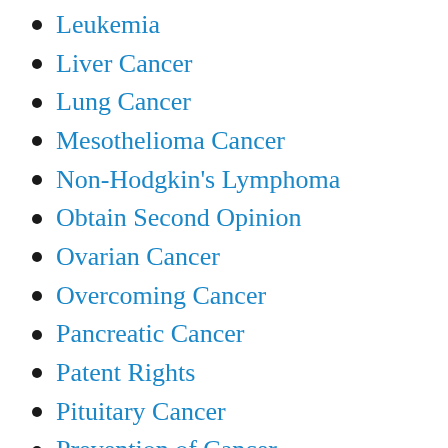Leukemia
Liver Cancer
Lung Cancer
Mesothelioma Cancer
Non-Hodgkin's Lymphoma
Obtain Second Opinion
Ovarian Cancer
Overcoming Cancer
Pancreatic Cancer
Patent Rights
Pituitary Cancer
Prevention of Cancer
Prostate Cancer
Retinoblastoma Cancer
Sinus Cancer
Skin Cancer